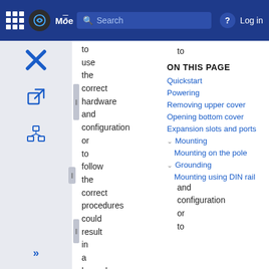MōC Search | Log in
to use the correct hardware and configuration or to follow the correct procedures could result in a hazardous situation to people
ON THIS PAGE
Quickstart
Powering
Removing upper cover
Opening bottom cover
Expansion slots and ports
Mounting
Mounting on the pole
Grounding
Mounting using DIN rail